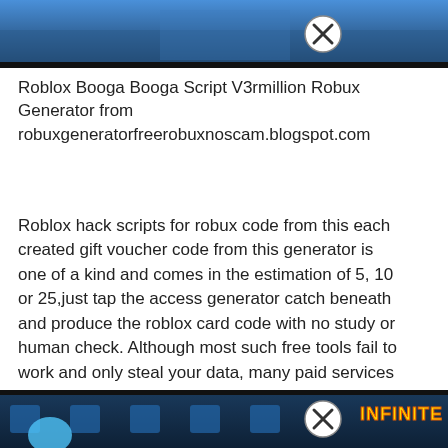[Figure (screenshot): Top banner image showing a Roblox game screenshot with a close/X button overlay]
Roblox Booga Booga Script V3rmillion Robux Generator from robuxgeneratorfreerobuxnoscam.blogspot.com
Roblox hack scripts for robux code from this each created gift voucher code from this generator is one of a kind and comes in the estimation of 5, 10 or 25,just tap the access generator catch beneath and produce the roblox card code with no study or human check. Although most such free tools fail to work and only steal your data, many paid services will actually allow you to generate free robux for kids. Ds2 roblox free code redeem roblox.
[Figure (screenshot): Bottom banner image showing a Roblox game screenshot with 'INFINITE' text and a close/X button overlay]